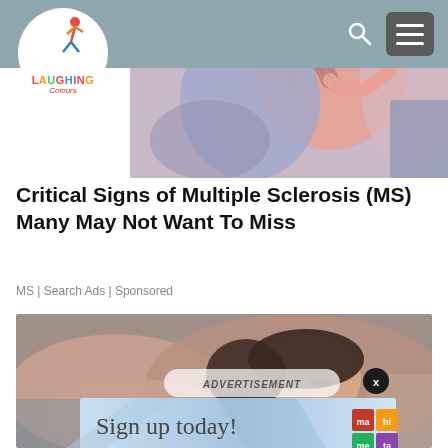Laughing Colours
[Figure (illustration): Hero illustration showing abstract figures in pink, purple and blue tones]
Critical Signs of Multiple Sclerosis (MS) Many May Not Want To Miss
MS | Search Ads | Sponsored
[Figure (photo): Woman lying on a couch with eyes closed; advertisement overlay with 'ADVERTISEMENT' label and X close button; sign-up ad panel reading 'Sign up today!' with mathomo logo]